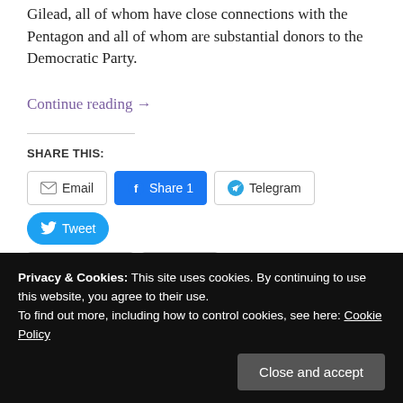Gilead, all of whom have close connections with the Pentagon and all of whom are substantial donors to the Democratic Party.
Continue reading →
SHARE THIS:
[Figure (screenshot): Social share buttons: Email, Share 1 (Facebook), Telegram, Tweet, WhatsApp, More]
Loading...
Privacy & Cookies: This site uses cookies. By continuing to use this website, you agree to their use. To find out more, including how to control cookies, see here: Cookie Policy
Close and accept
SO WHY DID AUSTIN CALL SHOIGU?